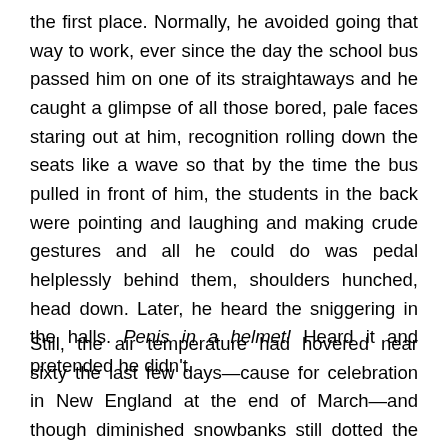the first place. Normally, he avoided going that way to work, ever since the day the school bus passed him on one of its straightaways and he caught a glimpse of all those bored, pale faces staring out at him, recognition rolling down the seats like a wave so that by the time the bus pulled in front of him, the students in the back were pointing and laughing and making crude gestures and all he could do was pedal helplessly behind them, shoulders hunched, head down. Later, he heard the sniggering in the halls. Penis in a helmet! Heard it and pretended he didn't.
Still, the air temperature had hovered near sixty the last few days—cause for celebration in New England at the end of March—and though diminished snowbanks still dotted the town, the rest of winter's vestiges were